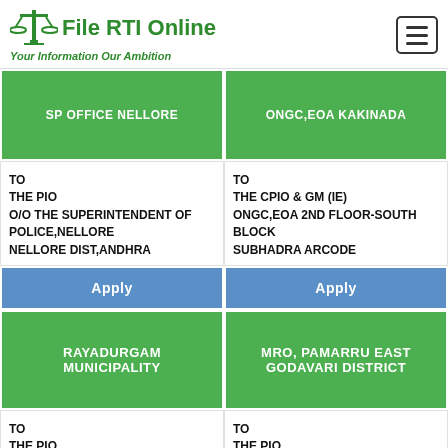File RTI Online — Your Information Our Ambition
| SP OFFICE NELLORE | ONGC,EOA KAKINADA |
| --- | --- |
| TO
THE PIO
O/O THE SUPERINTENDENT OF POLICE,NELLORE
NELLORE DIST,ANDHRA | TO
THE CPIO & GM (IE)
ONGC,EOA 2ND FLOOR-SOUTH BLOCK
SUBHADRA ARCODE |
| Apply | Apply |
| RAYADURGAM MUNICIPALITY | MRO, PAMARRU EAST GODAVARI DISTRICT |
| TO
THE PIO
O/O THE MUNICIPAL COMMISSIONER,
RAYADURGAM MUNICIPALITY | TO
THE PIO
O/O THE MRO, PAMARRU
EAST GODAVARI DISTRICT
ANDHARA PRADESH PIN CODE |